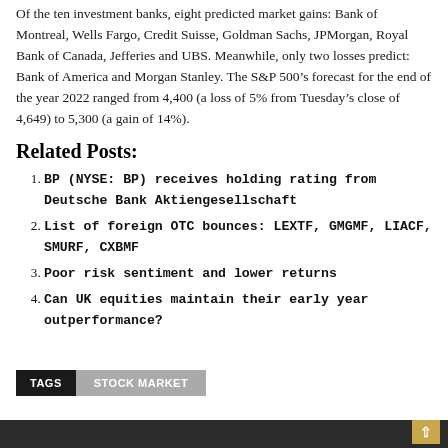Of the ten investment banks, eight predicted market gains: Bank of Montreal, Wells Fargo, Credit Suisse, Goldman Sachs, JPMorgan, Royal Bank of Canada, Jefferies and UBS. Meanwhile, only two losses predict: Bank of America and Morgan Stanley. The S&P 500’s forecast for the end of the year 2022 ranged from 4,400 (a loss of 5% from Tuesday’s close of 4,649) to 5,300 (a gain of 14%).
Related Posts:
BP (NYSE: BP) receives holding rating from Deutsche Bank Aktiengesellschaft
List of foreign OTC bounces: LEXTF, GMGMF, LIACF, SMURF, CXBMF
Poor risk sentiment and lower returns
Can UK equities maintain their early year outperformance?
TAGS   STOCK MARKET